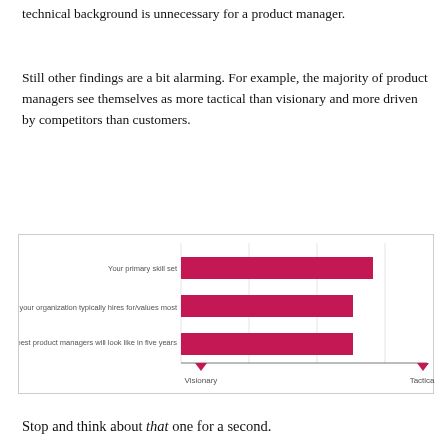technical background is unnecessary for a product manager.
Still other findings are a bit alarming. For example, the majority of product managers see themselves as more tactical than visionary and more driven by competitors than customers.
[Figure (bar-chart): ]
Stop and think about that one for a second.